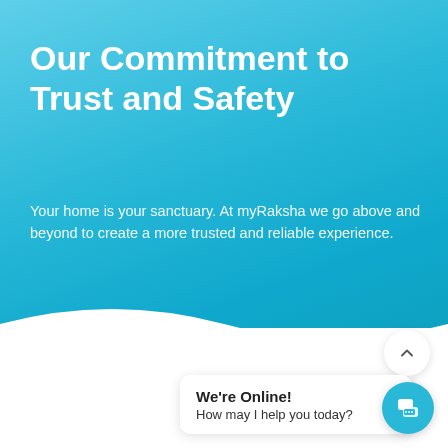Our Commitment to Trust and Safety
Your home is your sanctuary. At myRaksha we go above and beyond to create a more trusted and reliable experience.
LEARN MORE
We're Online!
How may I help you today?